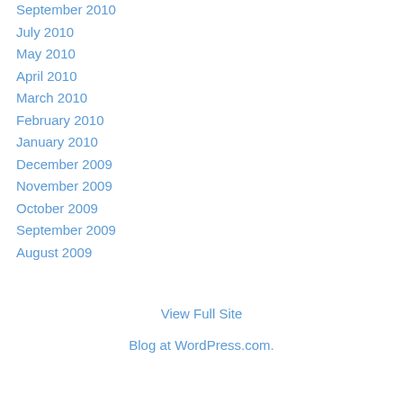September 2010
July 2010
May 2010
April 2010
March 2010
February 2010
January 2010
December 2009
November 2009
October 2009
September 2009
August 2009
View Full Site
Blog at WordPress.com.